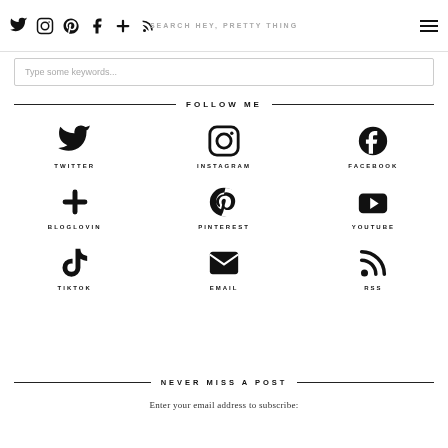Twitter Instagram Pinterest Facebook + RSS | SEARCH HEY, PRETTY THING
Type some keywords...
FOLLOW ME
TWITTER
INSTAGRAM
FACEBOOK
BLOGLOVIN
PINTEREST
YOUTUBE
TIKTOK
EMAIL
RSS
NEVER MISS A POST
Enter your email address to subscribe: